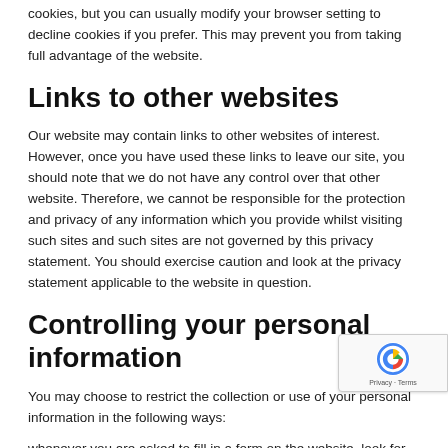cookies, but you can usually modify your browser setting to decline cookies if you prefer. This may prevent you from taking full advantage of the website.
Links to other websites
Our website may contain links to other websites of interest. However, once you have used these links to leave our site, you should note that we do not have any control over that other website. Therefore, we cannot be responsible for the protection and privacy of any information which you provide whilst visiting such sites and such sites are not governed by this privacy statement. You should exercise caution and look at the privacy statement applicable to the website in question.
Controlling your personal information
You may choose to restrict the collection or use of your personal information in the following ways:
whenever you are asked to fill in a form on the website, look for the box that you can click to indicate that you do not want